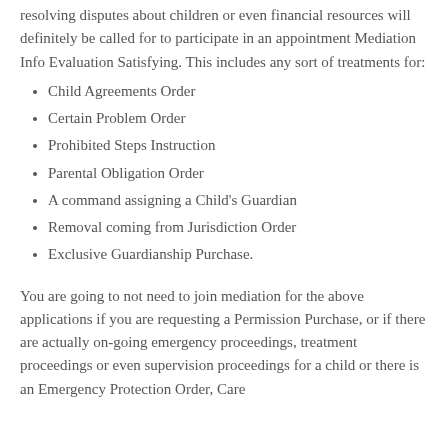resolving disputes about children or even financial resources will definitely be called for to participate in an appointment Mediation Info Evaluation Satisfying. This includes any sort of treatments for:
Child Agreements Order
Certain Problem Order
Prohibited Steps Instruction
Parental Obligation Order
A command assigning a Child's Guardian
Removal coming from Jurisdiction Order
Exclusive Guardianship Purchase.
You are going to not need to join mediation for the above applications if you are requesting a Permission Purchase, or if there are actually on-going emergency proceedings, treatment proceedings or even supervision proceedings for a child or there is an Emergency Protection Order, Care